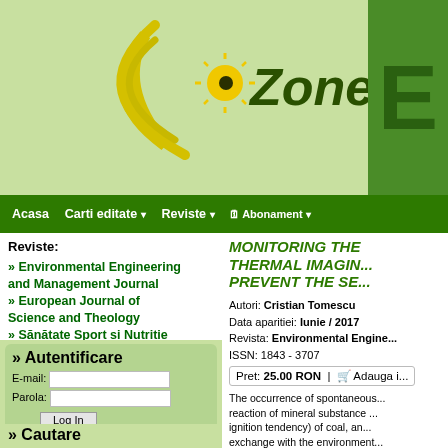[Figure (logo): EcoZone website logo with yellow crescent and sun icon on green background]
Acasa | Carti editate | Reviste | Abonament
Reviste:
» Environmental Engineering and Management Journal
» European Journal of Science and Theology
» Sănătate Sport și Nutriție
» Autentificare
E-mail:
Parola:
Log In
Cont nou
Va rugam sa va autentificati pentru a putea comanda carti
» Cautare
MONITORING THE... THERMAL IMAGING... PREVENT THE SE...
Autori: Cristian Tomescu
Data aparitiei: Iunie / 2017
Revista: Environmental Engine...
ISSN: 1843 - 3707
Pret: 25.00 RON | Adauga i...
The occurrence of spontaneouss... reaction of mineral substance ... ignition tendency) of coal, an... exchange with the environment... Preventing / Fighting against th... and in the General mining pla... prevention and protection, as we... However, despite all those mea...